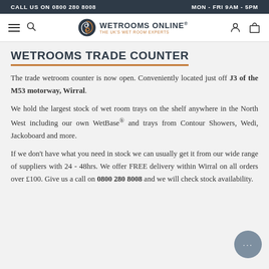CALL US ON 0800 280 8008 | MON - FRI 9AM - 5PM
[Figure (logo): Wetrooms Online logo — spinning vortex icon with text 'WETROOMS ONLINE® THE UK'S WET ROOM EXPERTS']
WETROOMS TRADE COUNTER
The trade wetroom counter is now open. Conveniently located just off J3 of the M53 motorway, Wirral.
We hold the largest stock of wet room trays on the shelf anywhere in the North West including our own WetBase® and trays from Contour Showers, Wedi, Jackoboard and more.
If we don't have what you need in stock we can usually get it from our wide range of suppliers with 24 - 48hrs. We offer FREE delivery within Wirral on all orders over £100. Give us a call on 0800 280 8008 and we will check stock availability.